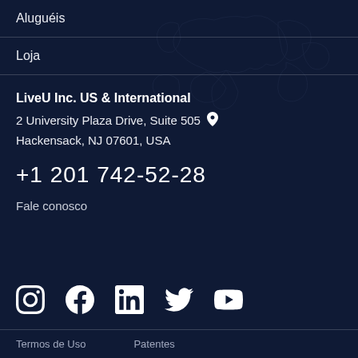Aluguéis
Loja
LiveU Inc. US & International
2 University Plaza Drive, Suite 505 📍
Hackensack, NJ 07601, USA
+1 201 742-52-28
Fale conosco
[Figure (infographic): Social media icons row: Instagram, Facebook, LinkedIn, Twitter, YouTube]
Termos de Uso    Patentes